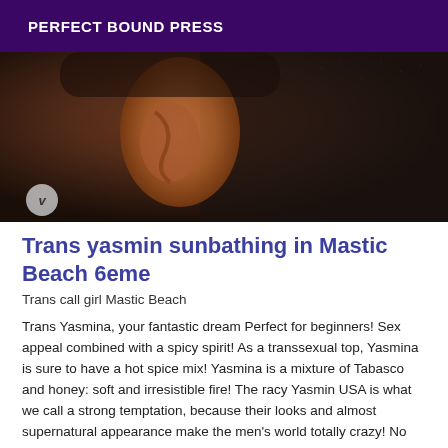PERFECT BOUND PRESS
[Figure (photo): Close-up photo of a person's ear and neck against a dark textured background, with a small Vimeo logo badge in the bottom-left corner.]
Trans yasmin sunbathing in Mastic Beach 6eme
Trans call girl Mastic Beach
Trans Yasmina, your fantastic dream Perfect for beginners! Sex appeal combined with a spicy spirit! As a transsexual top, Yasmina is sure to have a hot spice mix! Yasmina is a mixture of Tabasco and honey: soft and irresistible fire! The racy Yasmin USA is what we call a strong temptation, because their looks and almost supernatural appearance make the men's world totally crazy! No one can resist its charms. You can't resist her